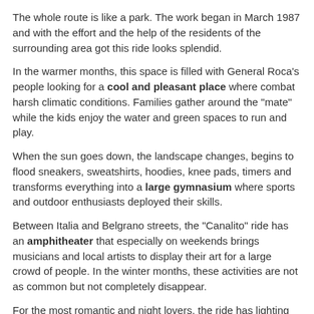The whole route is like a park. The work began in March 1987 and with the effort and the help of the residents of the surrounding area got this ride looks splendid.
In the warmer months, this space is filled with General Roca's people looking for a cool and pleasant place where combat harsh climatic conditions. Families gather around the "mate" while the kids enjoy the water and green spaces to run and play.
When the sun goes down, the landscape changes, begins to flood sneakers, sweatshirts, hoodies, knee pads, timers and transforms everything into a large gymnasium where sports and outdoor enthusiasts deployed their skills.
Between Italia and Belgrano streets, the "Canalito" ride has an amphitheater that especially on weekends brings musicians and local artists to display their art for a large crowd of people. In the winter months, these activities are not as common but not completely disappear.
For the most romantic and night lovers, the ride has lighting along the entire route.
[Figure (other): Social sharing bar with Share button and icons for Facebook, StumbleUpon, Google+, Twitter, and Email]